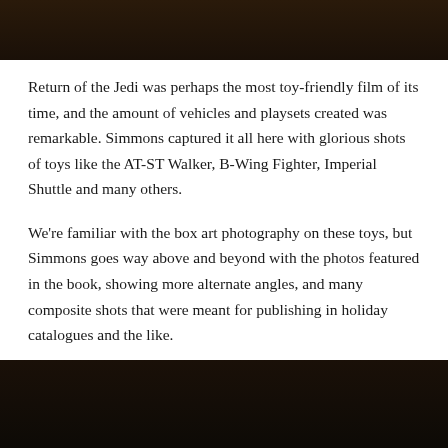[Figure (photo): Dark brown textured background image at top of page]
Return of the Jedi was perhaps the most toy-friendly film of its time, and the amount of vehicles and playsets created was remarkable. Simmons captured it all here with glorious shots of toys like the AT-ST Walker, B-Wing Fighter, Imperial Shuttle and many others.
We're familiar with the box art photography on these toys, but Simmons goes way above and beyond with the photos featured in the book, showing more alternate angles, and many composite shots that were meant for publishing in holiday catalogues and the like.
[Figure (photo): Dark brown textured background image at bottom of page]